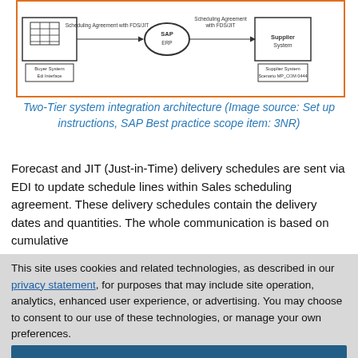[Figure (schematic): Two-Tier system integration architecture diagram showing Buyer System with EDI interface connected via Scheduling Agreement with FDS/JIT to SAP system, and another Scheduling Agreement with FDS/JIT connected to Supplier System (Scenario MP_COM 0444).]
Two-Tier system integration architecture (Image source: Set up instructions, SAP Best practice scope item: 3NR)
Forecast and JIT (Just-in-Time) delivery schedules are sent via EDI to update schedule lines within Sales scheduling agreement. These delivery schedules contain the delivery dates and quantities. The whole communication is based on cumulative
This site uses cookies and related technologies, as described in our privacy statement, for purposes that may include site operation, analytics, enhanced user experience, or advertising. You may choose to consent to our use of these technologies, or manage your own preferences.
Accept Cookies
More Information
Privacy Policy | Powered by: TrustArc
fulfill the schedules. The shipping officer creates deliveries based